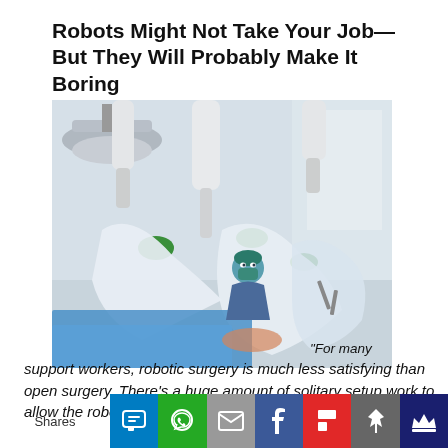Robots Might Not Take Your Job—But They Will Probably Make It Boring
[Figure (photo): Surgical robot arms in an operating room with a surgeon in scrubs and mask visible in the background, surrounded by large white robotic arms with green accents]
“For many support workers, robotic surgery is much less satisfying than open surgery. There’s a huge amount of solitary setup work to allow the robot to work, then
Shares | SMS | WhatsApp | Email | Facebook | Flipboard | Pin | Crown